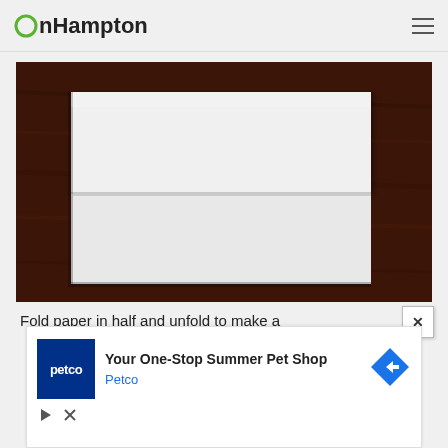onHampton
[Figure (photo): A white sheet of paper folded in half and unfolded, placed on a dark brown wooden table surface, showing a horizontal crease line in the center of the paper.]
Fold paper in half and unfold to make a
[Figure (other): Advertisement banner for Petco: 'Your One-Stop Summer Pet Shop' with Petco logo and navigation arrow icon, with play and close controls.]